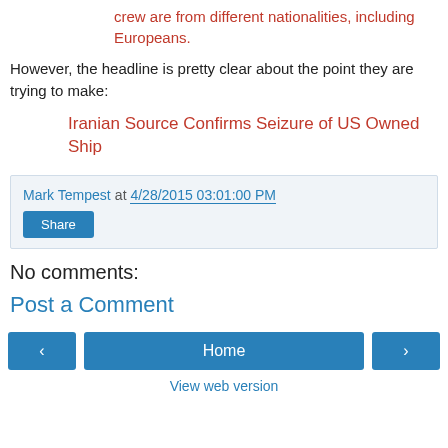crew are from different nationalities, including Europeans.
However, the headline is pretty clear about the point they are trying to make:
Iranian Source Confirms Seizure of US Owned Ship
Mark Tempest at 4/28/2015 03:01:00 PM
Share
No comments:
Post a Comment
‹
Home
›
View web version